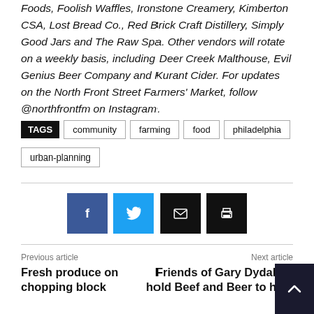Foods, Foolish Waffles, Ironstone Creamery, Kimberton CSA, Lost Bread Co., Red Brick Craft Distillery, Simply Good Jars and The Raw Spa. Other vendors will rotate on a weekly basis, including Deer Creek Malthouse, Evil Genius Beer Company and Kurant Cider. For updates on the North Front Street Farmers' Market, follow @northfrontfm on Instagram.
TAGS: community, farming, food, philadelphia, urban-planning
[Figure (other): Social share buttons: Facebook (blue), Twitter (cyan), Email (black), Print (black)]
Previous article
Fresh produce on chopping block
Next article
Friends of Gary Dydak to hold Beef and Beer to help